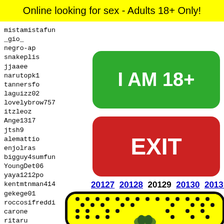Online looking for sex - Adults 18+ Only!
mistamistafun
_gio_
negro-ap
snakeplis
jjaaee
narutopk1
tannersfo
laguizz02
lovelybrow757
itzleoz
Ange1317
jtsh9
alemattio
enjolras
bigguy4sumfun
YoungDet06
yaya1212po
kentmtnman414
gekege01
roccosifreddi
carone
ritaru
lucafe
alfons
cutiep
reflin
[Figure (other): Green button labeled I AM 18+]
[Figure (other): Red button labeled EXIT]
20127 20128 20129 20130 20131
[Figure (illustration): Yellow padel racket with black dots pattern and cartoon face at bottom]